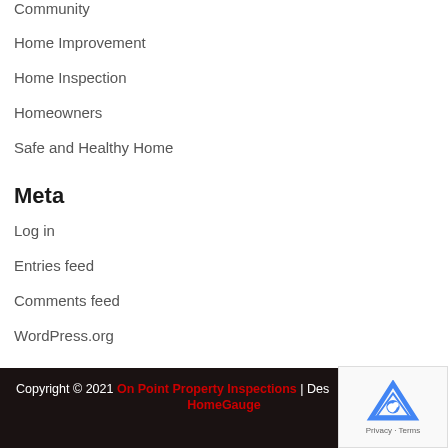Community
Home Improvement
Home Inspection
Homeowners
Safe and Healthy Home
Meta
Log in
Entries feed
Comments feed
WordPress.org
Copyright © 2021 On Point Property Inspections | Des... HomeGauge